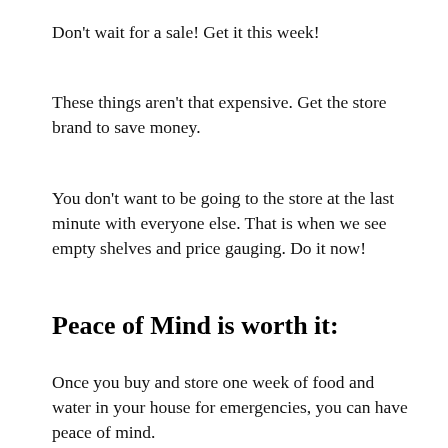Don't wait for a sale! Get it this week!
These things aren't that expensive. Get the store brand to save money.
You don't want to be going to the store at the last minute with everyone else. That is when we see empty shelves and price gauging. Do it now!
Peace of Mind is worth it:
Once you buy and store one week of food and water in your house for emergencies, you can have peace of mind.
Peace of mind that if disaster strikes you have provisions to live on.